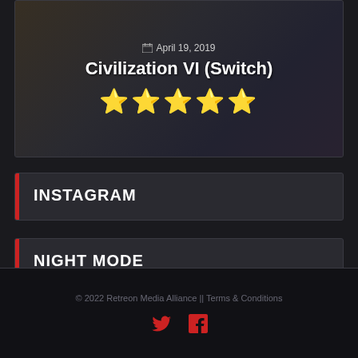[Figure (screenshot): Game card showing Civilization VI (Switch) with date April 19, 2019 and 5-star rating, with decorative background imagery]
INSTAGRAM
NIGHT MODE
[Figure (other): Toggle switch in off position for Night Mode setting]
© 2022 Retreon Media Alliance || Terms & Conditions